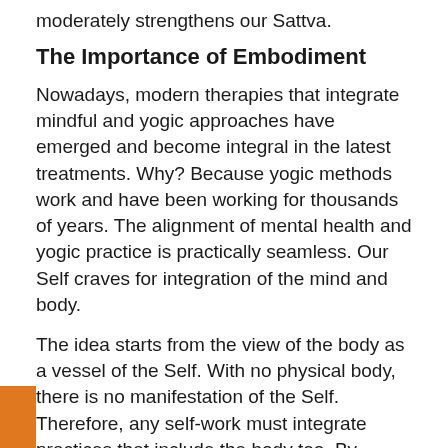moderately strengthens our Sattva.
The Importance of Embodiment
Nowadays, modern therapies that integrate mindful and yogic approaches have emerged and become integral in the latest treatments. Why? Because yogic methods work and have been working for thousands of years. The alignment of mental health and yogic practice is practically seamless. Our Self craves for integration of the mind and body.
The idea starts from the view of the body as a vessel of the Self. With no physical body, there is no manifestation of the Self. Therefore, any self-work must integrate practices that include the body too. By practicing yoga and mindfulness, people can cultivate a receptive state of mind where attention is informed by an awareness of what is happening at the moment, both internally and externally.